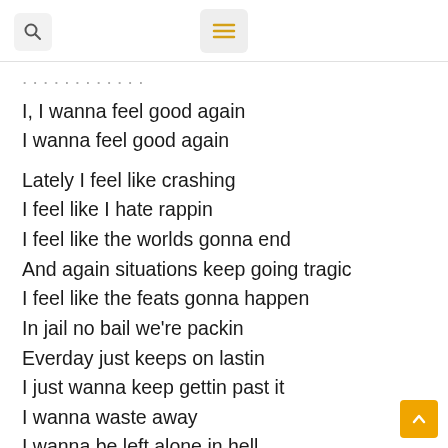[search icon] [menu icon]
I, I wanna feel good again
I wanna feel good again

Lately I feel like crashing
I feel like I hate rappin
I feel like the worlds gonna end
And again situations keep going tragic
I feel like the feats gonna happen
In jail no bail we're packin
Everday just keeps on lastin
I just wanna keep gettin past it
I wanna waste away
I wanna be left alone in hell
No one gave a damn when I was sittin in my cell
So when we never know the fear will be close to the